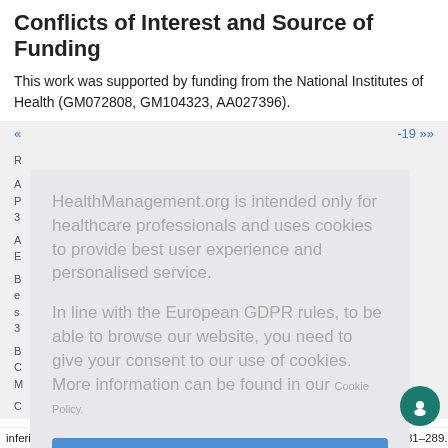Conflicts of Interest and Source of Funding
This work was supported by funding from the National Institutes of Health (GM072808, GM104323, AA027396).
HealthManagement.org is intended only for healthcare professionals and uses cookies to provide best user experience and personalised service.

In line with the European GDPR rules, to be able to browse our website, you need to give your consent to our use of cookies. More information can be found in our Cookie Policy.

I am a healthcare professional and consent to the use of cookies
inferiority, randomised controlled trial. The Lancet. Infectious Diseases, 12(4):281–289.